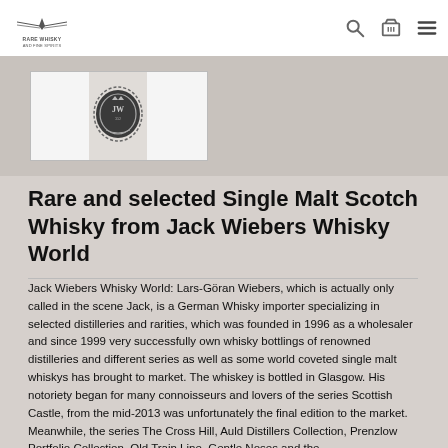RARE WHISKY AND FINE SPIRITS
[Figure (logo): Jack Wiebers Whisky World badge/crest logo in dark metal style, circular emblem]
Rare and selected Single Malt Scotch Whisky from Jack Wiebers Whisky World
Jack Wiebers Whisky World: Lars-Göran Wiebers, which is actually only called in the scene Jack, is a German Whisky importer specializing in selected distilleries and rarities, which was founded in 1996 as a wholesaler and since 1999 very successfully own whisky bottlings of renowned distilleries and different series as well as some world coveted single malt whiskys has brought to market. The whiskey is bottled in Glasgow. His notoriety began for many connoisseurs and lovers of the series Scottish Castle, from the mid-2013 was unfortunately the final edition to the market. Meanwhile, the series The Cross Hill, Auld Distillers Collection, Prenzlow Portfolio Collection, Old Train Line, Gentle Noses and the